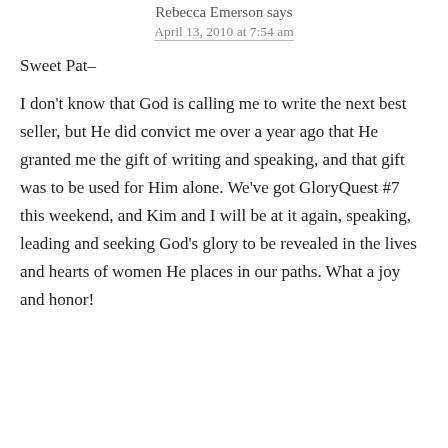Rebecca Emerson says
April 13, 2010 at 7:54 am
Sweet Pat–
I don't know that God is calling me to write the next best seller, but He did convict me over a year ago that He granted me the gift of writing and speaking, and that gift was to be used for Him alone. We've got GloryQuest #7 this weekend, and Kim and I will be at it again, speaking, leading and seeking God's glory to be revealed in the lives and hearts of women He places in our paths. What a joy and honor!